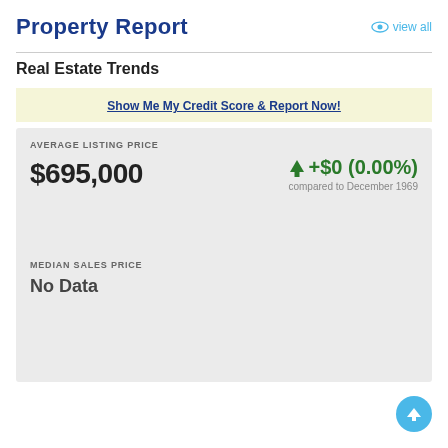Property Report
view all
Real Estate Trends
Show Me My Credit Score & Report Now!
AVERAGE LISTING PRICE
$695,000
↑+$0 (0.00%)
compared to December 1969
MEDIAN SALES PRICE
No Data